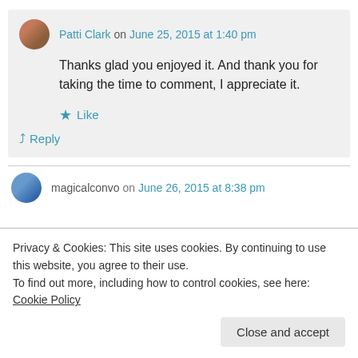Patti Clark on June 25, 2015 at 1:40 pm
Thanks glad you enjoyed it. And thank you for taking the time to comment, I appreciate it.
Like
Reply
magicalconvo on June 26, 2015 at 8:38 pm
Privacy & Cookies: This site uses cookies. By continuing to use this website, you agree to their use.
To find out more, including how to control cookies, see here: Cookie Policy
Close and accept